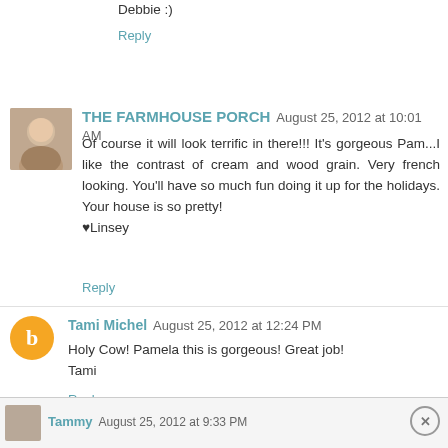Debbie :)
Reply
THE FARMHOUSE PORCH  August 25, 2012 at 10:01 AM
Of course it will look terrific in there!!! It's gorgeous Pam...I like the contrast of cream and wood grain. Very french looking. You'll have so much fun doing it up for the holidays. Your house is so pretty!
♥Linsey
Reply
Tami Michel  August 25, 2012 at 12:24 PM
Holy Cow! Pamela this is gorgeous! Great job!
Tami
Reply
Tammy  August 25, 2012 at 9:33 PM